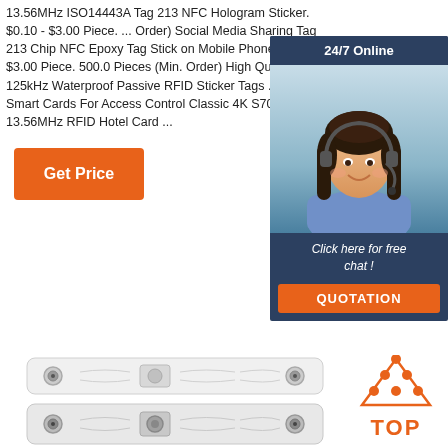13.56MHz ISO14443A Tag 213 NFC Hologram Sticker. $0.10 - $3.00 Piece. ... Order) Social Media Sharing Tag 213 Chip NFC Epoxy Tag Stick on Mobile Phone. $0.10 - $3.00 Piece. 500.0 Pieces (Min. Order) High Quality 125kHz Waterproof Passive RFID Sticker Tags ... PVC Smart Cards For Access Control Classic 4K S70 Chip 13.56MHz RFID Hotel Card ...
[Figure (other): Orange 'Get Price' button]
[Figure (other): 24/7 Online customer service chat widget with photo of woman wearing headset, 'Click here for free chat!' text, and orange QUOTATION button]
[Figure (photo): White RFID laundry tag strip with two metal snaps, top view]
[Figure (photo): White RFID laundry tag strip with two metal snaps, bottom view (slightly darker)]
[Figure (other): Orange triangle dots logo with 'TOP' text in orange below it]